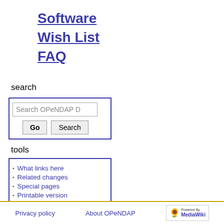Software
Wish List
FAQ
search
[Figure (other): Search box with text input 'Search OPeNDAP D', Go button, and Search button]
tools
What links here
Related changes
Special pages
Printable version
Permanent link
Page information
Privacy policy  About OPeNDAP  Powered By MediaWiki